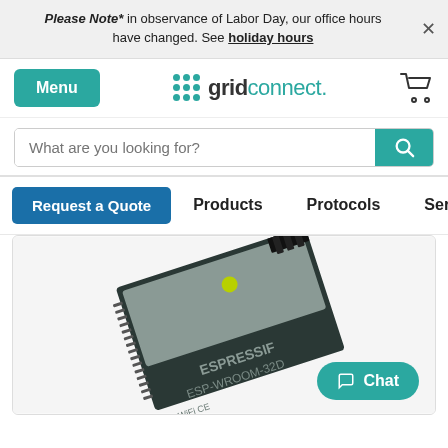Please Note* in observance of Labor Day, our office hours have changed. See holiday hours
[Figure (logo): Grid Connect logo with teal dot grid and wordmark]
What are you looking for?
Request a Quote   Products   Protocols   Services
[Figure (photo): Espressif ESP-WROOM-32D WiFi module chip close-up photo showing black PCB with metal shield, antenna, and certification marks]